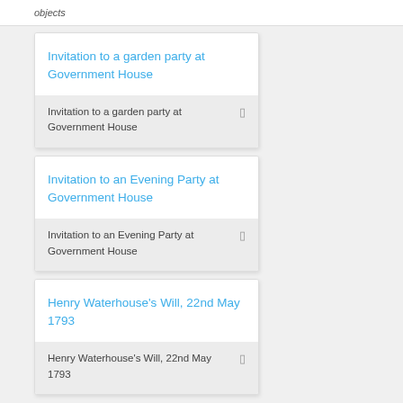objects
Invitation to a garden party at Government House
Invitation to a garden party at Government House
Invitation to an Evening Party at Government House
Invitation to an Evening Party at Government House
Henry Waterhouse's Will, 22nd May 1793
Henry Waterhouse's Will, 22nd May 1793